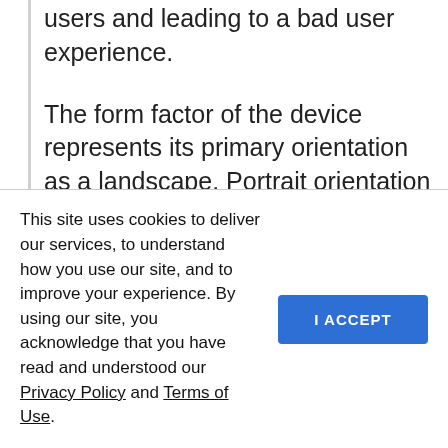users and leading to a bad user experience.
The form factor of the device represents its primary orientation as a landscape. Portrait orientation is not so popular on desktops as on mobiles.
You also need to consider that desktops are usually manipulated with a mouse, keyboard, and touchpad. To develop a high-quality web application, the developer should keep in mind the way the application responds to the actions of a user on hovers, clicks, drag and drop, focus
This site uses cookies to deliver our services, to understand how you use our site, and to improve your experience. By using our site, you acknowledge that you have read and understood our Privacy Policy and Terms of Use.